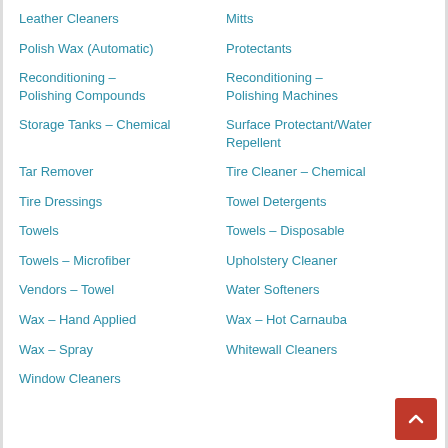Leather Cleaners
Mitts
Polish Wax (Automatic)
Protectants
Reconditioning – Polishing Compounds
Reconditioning – Polishing Machines
Storage Tanks – Chemical
Surface Protectant/Water Repellent
Tar Remover
Tire Cleaner – Chemical
Tire Dressings
Towel Detergents
Towels
Towels – Disposable
Towels – Microfiber
Upholstery Cleaner
Vendors – Towel
Water Softeners
Wax – Hand Applied
Wax – Hot Carnauba
Wax – Spray
Whitewall Cleaners
Window Cleaners